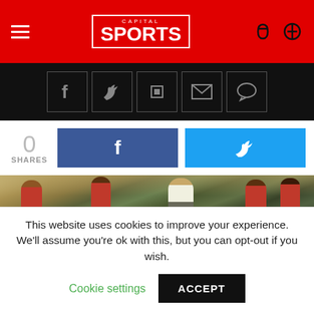CAPITAL SPORTS
[Figure (screenshot): Social share icons bar on black background: Facebook, Twitter, Flipboard, Email, Comment]
[Figure (infographic): Share count 0 SHARES with Facebook (blue) and Twitter (cyan) share buttons]
[Figure (photo): Rugby players in red/green Kenya jerseys running on a field with crowd in background]
This website uses cookies to improve your experience. We'll assume you're ok with this, but you can opt-out if you wish.
Cookie settings    ACCEPT